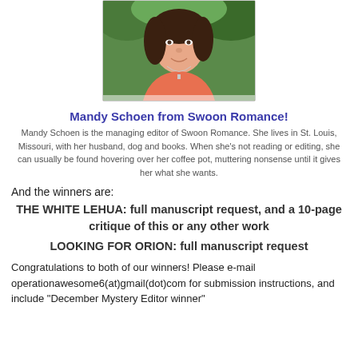[Figure (photo): Headshot photo of a woman with dark hair wearing an orange/coral top and a necklace with a cross pendant, outdoors with green foliage background.]
Mandy Schoen from Swoon Romance!
Mandy Schoen is the managing editor of Swoon Romance. She lives in St. Louis, Missouri, with her husband, dog and books. When she's not reading or editing, she can usually be found hovering over her coffee pot, muttering nonsense until it gives her what she wants.
And the winners are:
THE WHITE LEHUA: full manuscript request, and a 10-page critique of this or any other work
LOOKING FOR ORION: full manuscript request
Congratulations to both of our winners! Please e-mail operationawesome6(at)gmail(dot)com for submission instructions, and include "December Mystery Editor winner"